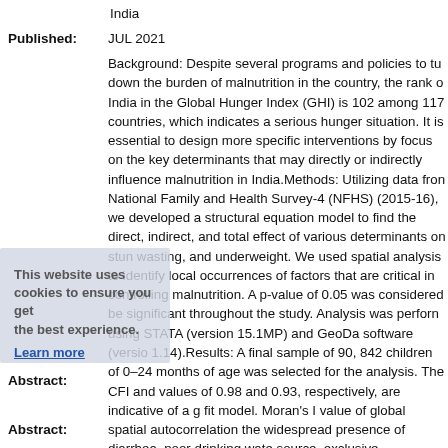India
Published: JUL 2021
Background: Despite several programs and policies to turn down the burden of malnutrition in the country, the rank of India in the Global Hunger Index (GHI) is 102 among 117 countries, which indicates a serious hunger situation. It is essential to design more specific interventions by focusing on the key determinants that may directly or indirectly influence malnutrition in India.Methods: Utilizing data from National Family and Health Survey-4 (NFHS) (2015-16), we developed a structural equation model to find the direct, indirect, and total effect of various determinants on stunting, wasting, and underweight. We used spatial analysis to identify local occurrences of factors that are critical in controlling malnutrition. A p-value of 0.05 was considered to be significant throughout the study. Analysis was performed using STATA (version 15.1MP) and GeoDa software (version 1.14).Results: A final sample of 90, 842 children of 0–24 months of age was selected for the analysis. The CFI and values of 0.98 and 0.93, respectively, are indicative of a good fit model. Moran's I value of global spatial autocorrelation the widespread presence of diarrhea, poor drinking water source, exclusive breastfeeding, low birth weight, no prenatal visits, poor toilet facility was observed to be 0.4...
Abstract: